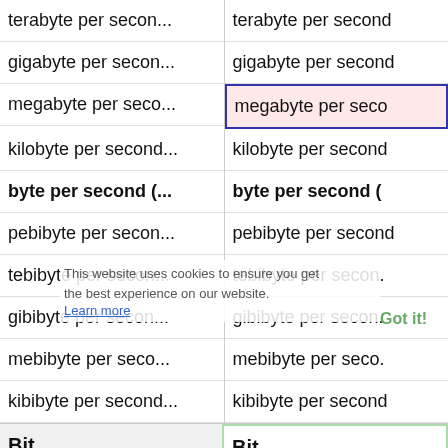terabyte per secon...
terabyte per second
gigabyte per secon...
gigabyte per second
megabyte per seco...
megabyte per seco...
kilobyte per second...
kilobyte per second
byte per second (...
byte per second (
pebibyte per secon...
pebibyte per second
tebibyte per secon...
tebibyte per secon.
gibibyte per secon...
gibibyte per secon.
mebibyte per seco...
mebibyte per seco.
kibibyte per second...
kibibyte per second
Bit
Bit
petabit per second ...
petabit per second
terabit per second (
terabit per second